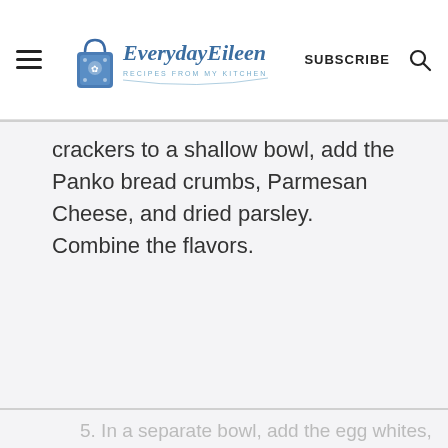EverydayEileen — RECIPES FROM MY KITCHEN — SUBSCRIBE
crackers to a shallow bowl, add the Panko bread crumbs, Parmesan Cheese, and dried parsley. Combine the flavors.
5. In a separate bowl, add the egg whites,